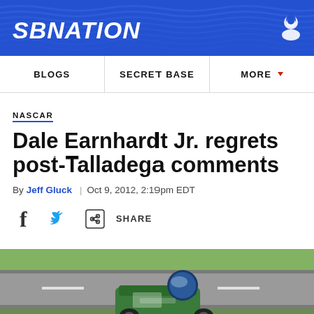SB NATION
[Figure (screenshot): SBNation website navigation bar with BLOGS, SECRET BASE, MORE menu items]
NASCAR
Dale Earnhardt Jr. regrets post-Talladega comments
By Jeff Gluck | Oct 9, 2012, 2:19pm EDT
[Figure (photo): NASCAR race car on track with driver in helmet visible, aerial or trackside view]